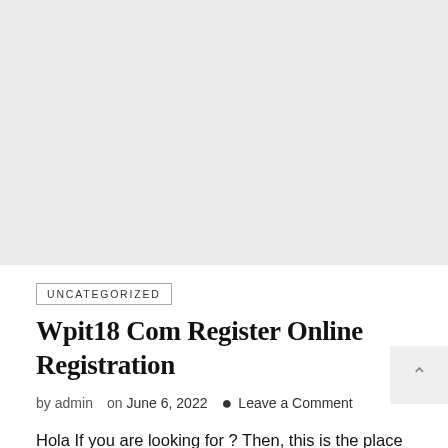[Figure (other): Large light gray rectangular placeholder image at top of page]
UNCATEGORIZED
Wpit18 Com Register Online Registration
by admin   on June 6, 2022   💬 Leave a Comment
Hola If you are looking for ? Then, this is the place where you can find some sources that provide